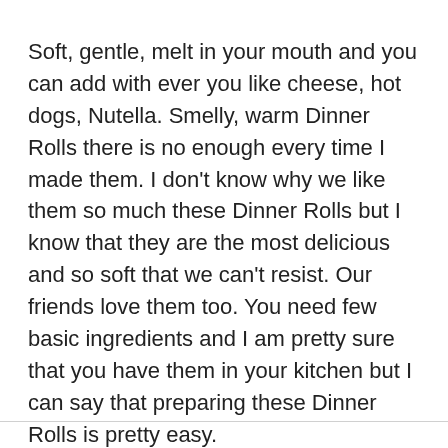Soft, gentle, melt in your mouth and you can add with ever you like cheese, hot dogs, Nutella. Smelly, warm Dinner Rolls there is no enough every time I made them. I don't know why we like them so much these Dinner Rolls but I know that they are the most delicious and so soft that we can't resist. Our friends love them too. You need few basic ingredients and I am pretty sure that you have them in your kitchen but I can say that preparing these Dinner Rolls is pretty easy.